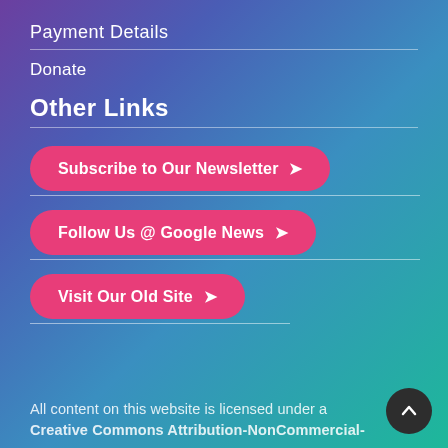Payment Details
Donate
Other Links
Subscribe to Our Newsletter ➤
Follow Us @ Google News ➤
Visit Our Old Site ➤
All content on this website is licensed under a Creative Commons Attribution-NonCommercial-